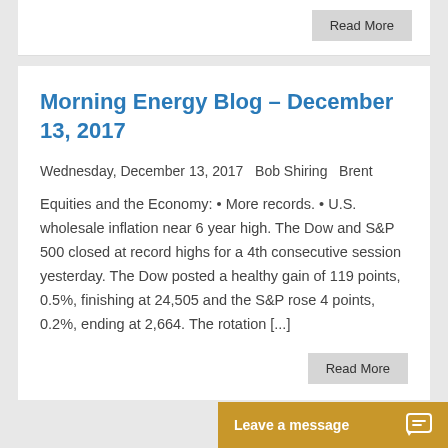Read More
Morning Energy Blog – December 13, 2017
Wednesday, December 13, 2017   Bob Shiring   Brent
Equities and the Economy: • More records. • U.S. wholesale inflation near 6 year high. The Dow and S&P 500 closed at record highs for a 4th consecutive session yesterday. The Dow posted a healthy gain of 119 points, 0.5%, finishing at 24,505 and the S&P rose 4 points, 0.2%, ending at 2,664. The rotation [...]
Read More
Leave a message